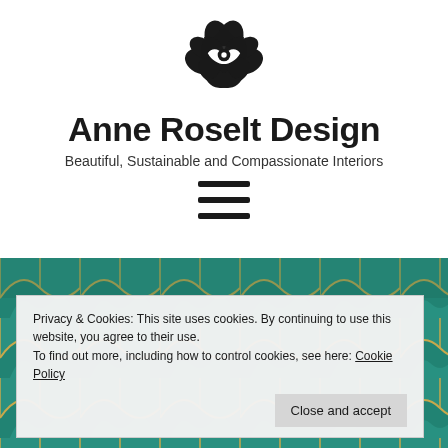[Figure (logo): Black rose flower logo mark for Anne Roselt Design]
Anne Roselt Design
Beautiful, Sustainable and Compassionate Interiors
[Figure (illustration): Hamburger menu icon with three horizontal black bars]
[Figure (photo): Teal and gold decorative tile pattern background]
Privacy & Cookies: This site uses cookies. By continuing to use this website, you agree to their use.
To find out more, including how to control cookies, see here: Cookie Policy
Close and accept